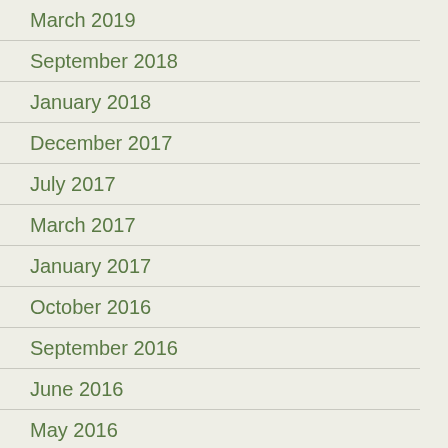March 2019
September 2018
January 2018
December 2017
July 2017
March 2017
January 2017
October 2016
September 2016
June 2016
May 2016
February 2016
November 2015
October 2015
August 2015